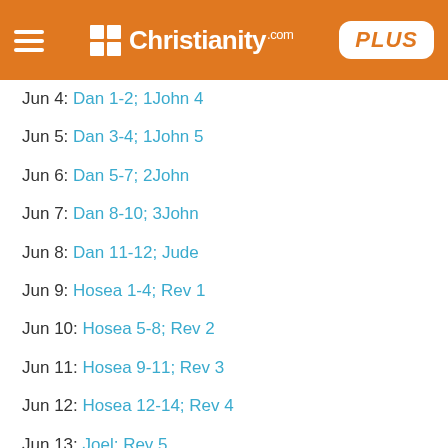Christianity.com PLUS
Jun 4: Dan 1-2; 1John 4
Jun 5: Dan 3-4; 1John 5
Jun 6: Dan 5-7; 2John
Jun 7: Dan 8-10; 3John
Jun 8: Dan 11-12; Jude
Jun 9: Hosea 1-4; Rev 1
Jun 10: Hosea 5-8; Rev 2
Jun 11: Hosea 9-11; Rev 3
Jun 12: Hosea 12-14; Rev 4
Jun 13: Joel; Rev 5
Jun 14: Amos 1-3; Rev 6
Jun 15: Amos 4-6; Rev 7
Jun 16: Amos 7-9; Rev 8